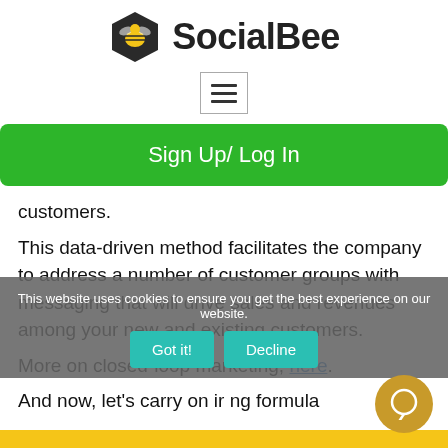[Figure (logo): SocialBee logo with hexagon bee icon and brand name text]
[Figure (screenshot): Hamburger menu button (three horizontal lines) in a bordered box]
Sign Up/ Log In
customers.
This data-driven method facilitates the company to address a number of customer groups with messaging that will drive sales and revenues among your new and existing customers.
More on closed-loop marketing, here.
And now, let's carry on ir ng formula
This website uses cookies to ensure you get the best experience on our website.